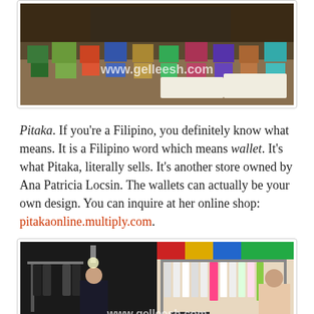[Figure (photo): Photo of a market stall with products displayed on a table, with a www.gelleesh.com watermark]
Pitaka. If you're a Filipino, you definitely know what means. It is a Filipino word which means wallet. It's what Pitaka, literally sells. It's another store owned by Ana Patricia Locsin. The wallets can actually be your own design. You can inquire at her online shop: pitakaonline.multiply.com.
[Figure (photo): Photo of a clothing boutique stall showing clothes on racks, with www.gelleesh.com watermark and a 'suyd' brand banner visible]